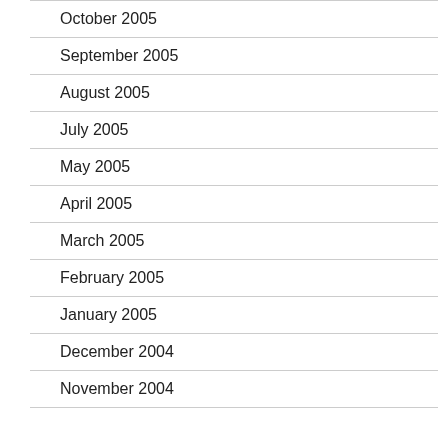October 2005
September 2005
August 2005
July 2005
May 2005
April 2005
March 2005
February 2005
January 2005
December 2004
November 2004